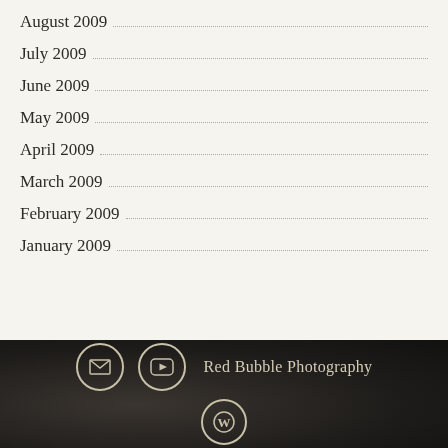August 2009
July 2009
June 2009
May 2009
April 2009
March 2009
February 2009
January 2009
Red Bubble Photography